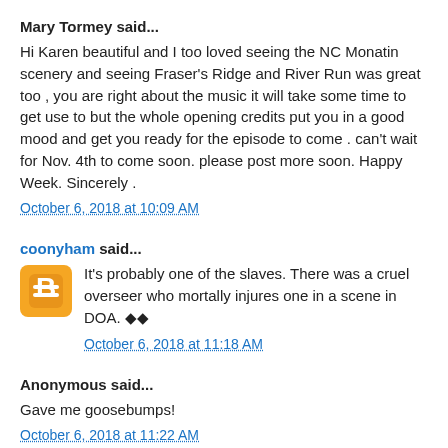Mary Tormey said...
Hi Karen beautiful and I too loved seeing the NC Monatin scenery and seeing Fraser's Ridge and River Run was great too , you are right about the music it will take some time to get use to but the whole opening credits put you in a good mood and get you ready for the episode to come . can't wait for Nov. 4th to come soon. please post more soon. Happy Week. Sincerely .
October 6, 2018 at 10:09 AM
coonyham said...
It's probably one of the slaves. There was a cruel overseer who mortally injures one in a scene in DOA. ◆◆
October 6, 2018 at 11:18 AM
Anonymous said...
Gave me goosebumps!
October 6, 2018 at 11:22 AM